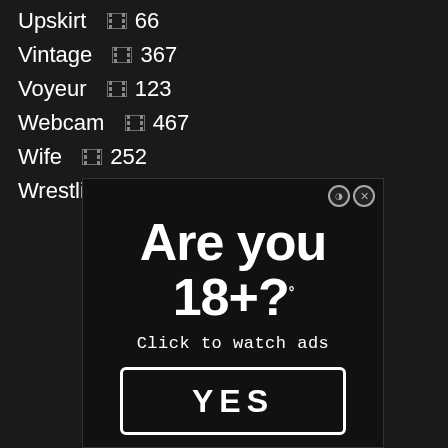Upskirt 🎬 66
Vintage 🎬 367
Voyeur 🎬 123
Webcam 🎬 467
Wife 🎬 252
Wrestling 🎬 581
[Figure (screenshot): Advertisement banner with black background asking 'Are you 18+?' with subtitle 'Click to watch ads' and a YES button. Has close/minimize icons in top right corner.]